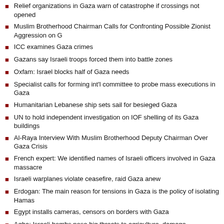Relief organizations in Gaza warn of catastrophe if crossings not opened
Muslim Brotherhood Chairman Calls for Confronting Possible Zionist Aggression on G
ICC examines Gaza crimes
Gazans say Israeli troops forced them into battle zones
Oxfam: Israel blocks half of Gaza needs
Specialist calls for forming int'l committee to probe mass executions in Gaza
Humanitarian Lebanese ship sets sail for besieged Gaza
UN to hold independent investigation on IOF shelling of its Gaza buildings
Al-Raya Interview With Muslim Brotherhood Deputy Chairman Over Gaza Crisis
French expert: We identified names of Israeli officers involved in Gaza massacre
Israeli warplanes violate ceasefire, raid Gaza anew
Erdogan: The main reason for tensions in Gaza is the policy of isolating Hamas
Egypt installs cameras, censors on borders with Gaza
Agha: Israeli bombs pose big threats to agriculture, damage environment in Gaza
Press Conference, MP Sit-in at Rafah Crossing after Denial of Access to Gaza
Academics and Journalist in Gaza call for boycotting the BBC